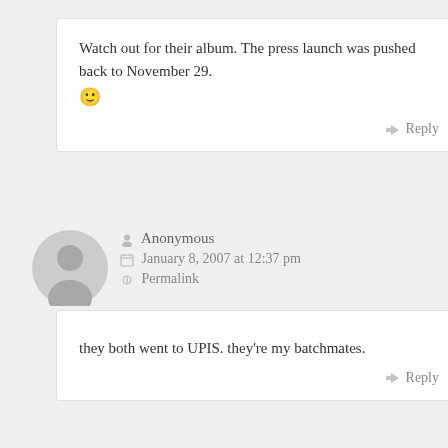Watch out for their album. The press launch was pushed back to November 29. 🙂
↳ Reply
👤 Anonymous
📅 January 8, 2007 at 12:37 pm
🔗 Permalink
they both went to UPIS. they're my batchmates.
↳ Reply